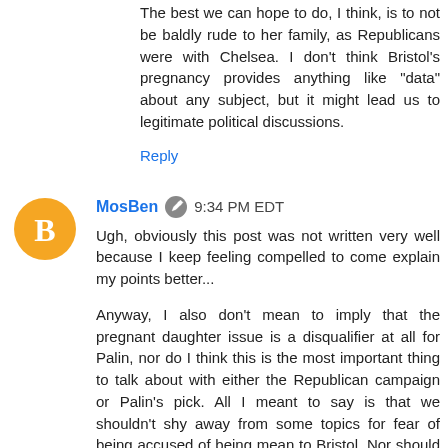The best we can hope to do, I think, is to not be baldly rude to her family, as Republicans were with Chelsea. I don't think Bristol's pregnancy provides anything like "data" about any subject, but it might lead us to legitimate political discussions.
Reply
MosBen  9:34 PM EDT
Ugh, obviously this post was not written very well because I keep feeling compelled to come explain my points better...
Anyway, I also don't mean to imply that the pregnant daughter issue is a disqualifier at all for Palin, nor do I think this is the most important thing to talk about with either the Republican campaign or Palin's pick. All I meant to say is that we shouldn't shy away from some topics for fear of being accused of being mean to Bristol. Nor should we fail to ask hard questions of Palin on certain topics because those topics are related to events in her family.
Reply